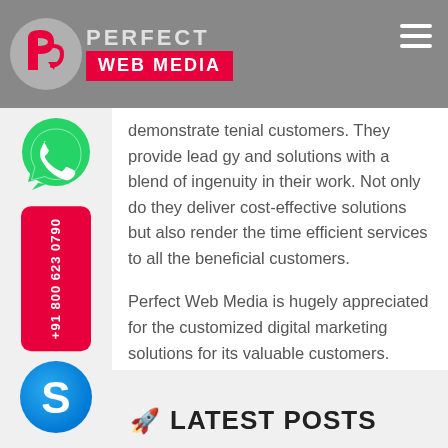[Figure (logo): Perfect Web Media logo with red circular arrow icon and 'WEB MEDIA' text on red background, on gray header bar with hamburger menu]
[Figure (illustration): WhatsApp green phone icon button on left sidebar]
[Figure (illustration): Red vertical phone number button +91 800 623 0790 on left sidebar]
[Figure (illustration): Skype blue S icon button on left sidebar]
demonstrate ten ial customers. They provide lead gy and solutions with a blend of ingenuity in their work. Not only do they deliver cost-effective solutions but also render the time efficient services to all the beneficial customers.
Perfect Web Media is hugely appreciated for the customized digital marketing solutions for its valuable customers. Their mission is to fulfill the needs of the clients in order to satisfy them with their boundless services and solutions.
LATEST POSTS